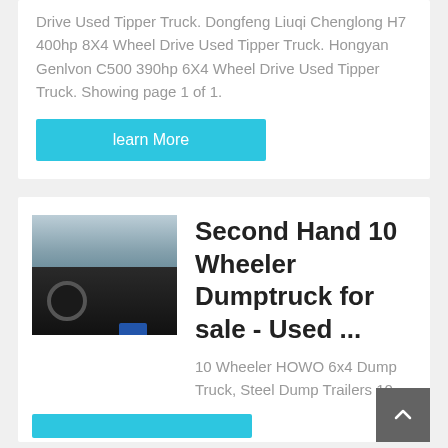Drive Used Tipper Truck. Dongfeng Liuqi Chenglong H7 400hp 8X4 Wheel Drive Used Tipper Truck. Hongyan Genlvon C500 390hp 6X4 Wheel Drive Used Tipper Truck. Showing page 1 of 1.
learn More
[Figure (photo): Interior view of a truck cab showing the dashboard, steering wheel, and windshield looking out toward a parking lot with trucks.]
Second Hand 10 Wheeler Dumptruck for sale - Used ...
10 Wheeler HOWO 6x4 Dump Truck, Steel Dump Trailers 10